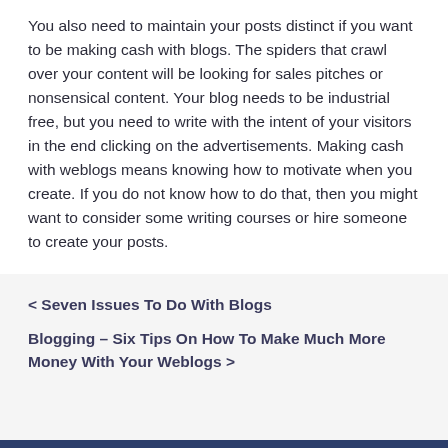You also need to maintain your posts distinct if you want to be making cash with blogs. The spiders that crawl over your content will be looking for sales pitches or nonsensical content. Your blog needs to be industrial free, but you need to write with the intent of your visitors in the end clicking on the advertisements. Making cash with weblogs means knowing how to motivate when you create. If you do not know how to do that, then you might want to consider some writing courses or hire someone to create your posts.
< Seven Issues To Do With Blogs
Blogging – Six Tips On How To Make Much More Money With Your Weblogs >